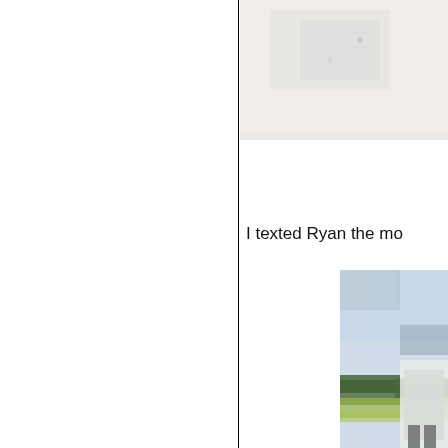[Figure (photo): Partially visible photo in top-right area, appears to show faded/light outdoor or document image]
I texted Ryan the mo
[Figure (photo): Partially visible photo in bottom-right area showing a person outdoors with a field and trees in the background, wearing a light jacket]